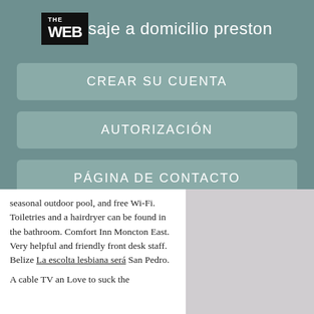WEBsaje a domicilio preston
CREAR SU CUENTA
AUTORIZACIÓN
PÁGINA DE CONTACTO
seasonal outdoor pool, and free Wi-Fi. Toiletries and a hairdryer can be found in the bathroom. Comfort Inn Moncton East. Very helpful and friendly front desk staff. Belize La escolta lesbiana será San Pedro.
A cable TV an Love to suck the